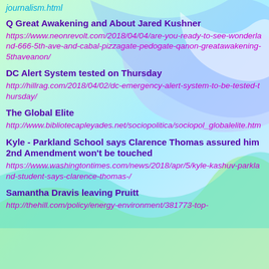journalism.html
Q Great Awakening and About Jared Kushner
https://www.neonrevolt.com/2018/04/04/are-you-ready-to-see-wonderland-666-5th-ave-and-cabal-pizzagate-pedogate-qanon-greatawakening-5thaveanon/
DC Alert System tested on Thursday
http://hillrag.com/2018/04/02/dc-emergency-alert-system-to-be-tested-thursday/
The Global Elite
http://www.bibliotecapleyades.net/sociopolitica/sociopol_globalelite.htm
Kyle - Parkland School says Clarence Thomas assured him 2nd Amendment won't be touched
https://www.washingtontimes.com/news/2018/apr/5/kyle-kashuv-parkland-student-says-clarence-thomas-/
Samantha Dravis leaving Pruitt
http://thehill.com/policy/energy-environment/381773-top-